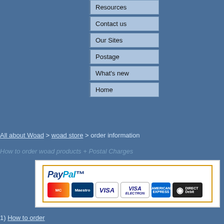Resources
Contact us
Our Sites
Postage
What's new
Home
All about Woad > woad store > order information
How to order woad products + Postal Charges
[Figure (logo): PayPal accepted payment methods banner showing PayPal logo and credit card logos: MasterCard, Maestro, VISA, VISA Electron, American Express, Direct Debit]
1) How to order
2) Orders by cheque
3) Delivery charges in UK